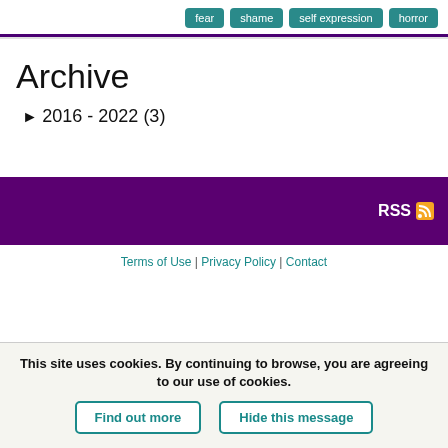fear | shame | self expression | horror
Archive
► 2016 - 2022 (3)
RSS
Terms of Use | Privacy Policy | Contact
This site uses cookies. By continuing to browse, you are agreeing to our use of cookies.
Find out more | Hide this message